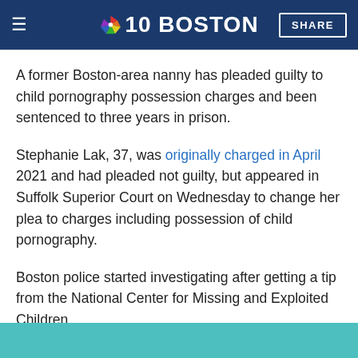NBC 10 Boston — SHARE
A former Boston-area nanny has pleaded guilty to child pornography possession charges and been sentenced to three years in prison.
Stephanie Lak, 37, was originally charged in April 2021 and had pleaded not guilty, but appeared in Suffolk Superior Court on Wednesday to change her plea to charges including possession of child pornography.
Boston police started investigating after getting a tip from the National Center for Missing and Exploited Children.
[Figure (other): Teal/cyan colored banner at the bottom of the page]